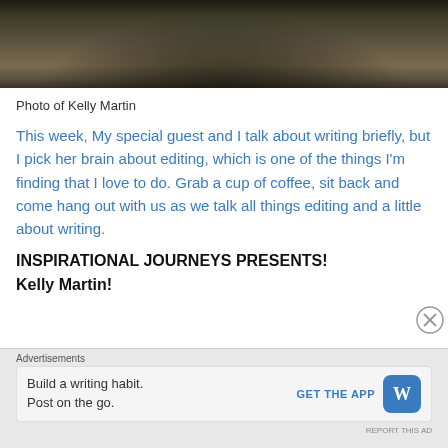[Figure (photo): Partial photo of Kelly Martin showing fur/hair texture at top of page]
Photo of Kelly Martin
This week, My special guest and I talk about writing briefly, but I pick her brain about editing, which is one of the things I'm finding that I love to do. Grab a cup of coffee, sit back and come hang out with us as we talk all things editing and a little about writing.
INSPIRATIONAL JOURNEYS PRESENTS!
Kelly Martin!
Advertisements
Build a writing habit. Post on the go.
GET THE APP